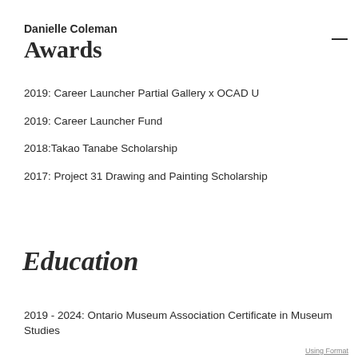Danielle Coleman Awards
2019: Career Launcher Partial Gallery x OCAD U
2019: Career Launcher Fund
2018:Takao Tanabe Scholarship
2017: Project 31 Drawing and Painting Scholarship
Education
2019 - 2024: Ontario Museum Association Certificate in Museum Studies
Using Format